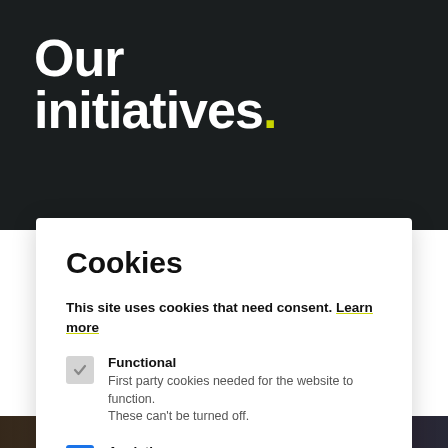Our initiatives.
Cookies
This site uses cookies that need consent. Learn more
Functional – First party cookies needed for the website to function. These can't be turned off.
Analytics – Used for statistical analysis.
Accept  Ignore